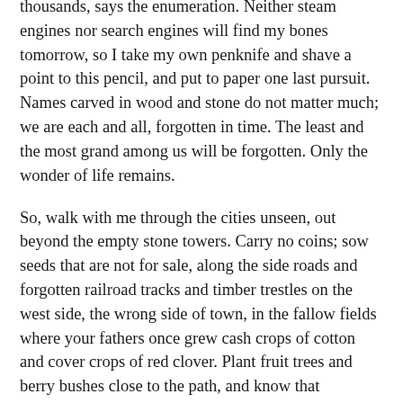thousands, says the enumeration. Neither steam engines nor search engines will find my bones tomorrow, so I take my own penknife and shave a point to this pencil, and put to paper one last pursuit. Names carved in wood and stone do not matter much; we are each and all, forgotten in time. The least and the most grand among us will be forgotten. Only the wonder of life remains.
So, walk with me through the cities unseen, out beyond the empty stone towers. Carry no coins; sow seeds that are not for sale, along the side roads and forgotten railroad tracks and timber trestles on the west side, the wrong side of town, in the fallow fields where your fathers once grew cash crops of cotton and cover crops of red clover. Plant fruit trees and berry bushes close to the path, and know that someday, off from the distance, a hungry soul will walk that way seeking sustenance. Plant ideas of days where there is only one of us, and that is all of us, and all of everything there is, and know that someday, off from the distance, a hungry mind will walk that way seeking solace. Your name shall be Seeder, and I shall be the annalist, to write your name forever.